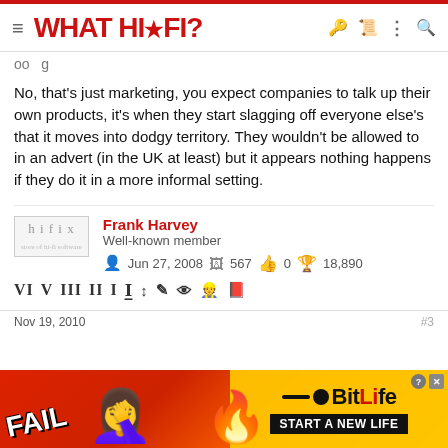WHAT HI-FI?
No, that's just marketing, you expect companies to talk up their own products, it's when they start slagging off everyone else's that it moves into dodgy territory. They wouldn't be allowed to in an advert (in the UK at least) but it appears nothing happens if they do it in a more informal setting.
Frank Harvey
Well-known member
Jun 27, 2008  567  0  18,890
[Figure (screenshot): Ad banner: BitLife - Start a New Life game advertisement with FAIL text, cartoon figure, flames, and BitLife logo]
Nov 19, 2010